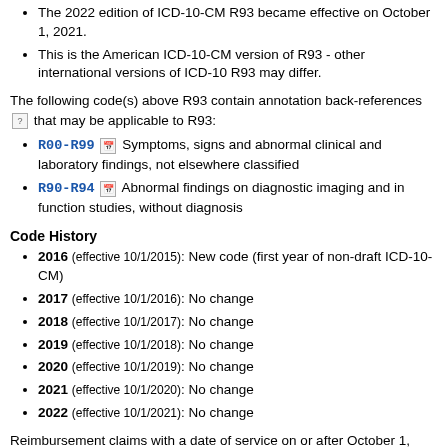Short description: Abnormal findings on diagnostic imaging of body structures
The 2022 edition of ICD-10-CM R93 became effective on October 1, 2021.
This is the American ICD-10-CM version of R93 - other international versions of ICD-10 R93 may differ.
The following code(s) above R93 contain annotation back-references [?] that may be applicable to R93:
R00-R99 [icon] Symptoms, signs and abnormal clinical and laboratory findings, not elsewhere classified
R90-R94 [icon] Abnormal findings on diagnostic imaging and in function studies, without diagnosis
Code History
2016 (effective 10/1/2015): New code (first year of non-draft ICD-10-CM)
2017 (effective 10/1/2016): No change
2018 (effective 10/1/2017): No change
2019 (effective 10/1/2018): No change
2020 (effective 10/1/2019): No change
2021 (effective 10/1/2020): No change
2022 (effective 10/1/2021): No change
Reimbursement claims with a date of service on or after October 1, 2015 require the use of ICD-10-CM codes.